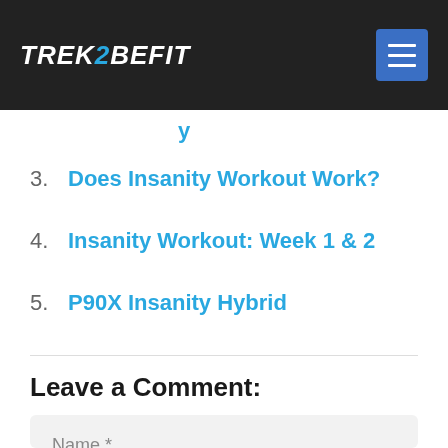TREK2BEFIT
3. Does Insanity Workout Work?
4. Insanity Workout: Week 1 & 2
5. P90X Insanity Hybrid
Leave a Comment:
Name *